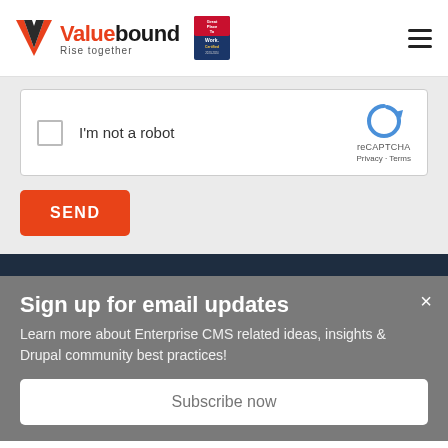[Figure (logo): Valuebound logo with red V icon, 'Rise together' tagline, and Great Place To Work Certified badge. Hamburger menu icon on the right.]
[Figure (screenshot): reCAPTCHA widget with checkbox labeled 'I'm not a robot' and reCAPTCHA logo with Privacy and Terms links]
SEND
Sign up for email updates
Learn more about Enterprise CMS related ideas, insights & Drupal community best practices!
Subscribe now